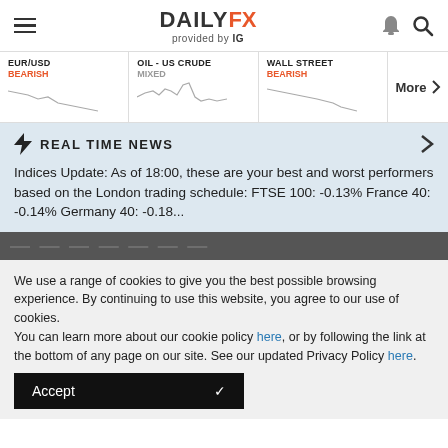DAILYFX provided by IG
[Figure (line-chart): EUR/USD BEARISH mini sparkline chart showing downward trend]
[Figure (line-chart): OIL - US CRUDE MIXED mini sparkline chart showing volatile movement]
[Figure (line-chart): WALL STREET BEARISH mini sparkline chart showing downward trend]
REAL TIME NEWS
Indices Update: As of 18:00, these are your best and worst performers based on the London trading schedule: FTSE 100: -0.13% France 40: -0.14% Germany 40: -0.18...
We use a range of cookies to give you the best possible browsing experience. By continuing to use this website, you agree to our use of cookies.
You can learn more about our cookie policy here, or by following the link at the bottom of any page on our site. See our updated Privacy Policy here.